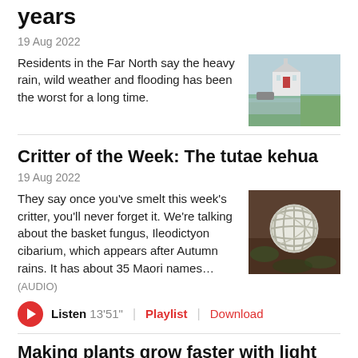years
19 Aug 2022
Residents in the Far North say the heavy rain, wild weather and flooding has been the worst for a long time.
[Figure (photo): Photo of a flooded area with a white church building surrounded by floodwater and green grass.]
Critter of the Week: The tutae kehua
19 Aug 2022
They say once you've smelt this week's critter, you'll never forget it. We're talking about the basket fungus, Ileodictyon cibarium, which appears after Autumn rains. It has about 35 Maori names... (AUDIO)
[Figure (photo): Close-up photo of a white basket fungus (Ileodictyon cibarium) on the ground among leaves and soil.]
Listen 13'51" | Playlist | Download
Making plants grow faster with light